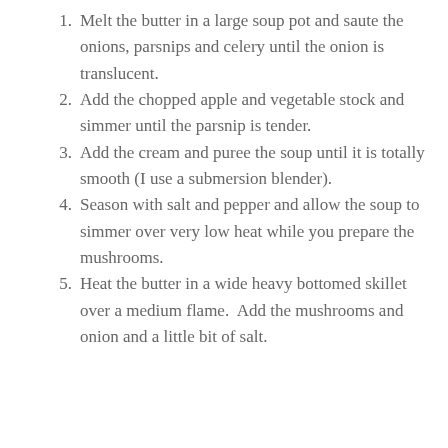Melt the butter in a large soup pot and saute the onions, parsnips and celery until the onion is translucent.
Add the chopped apple and vegetable stock and simmer until the parsnip is tender.
Add the cream and puree the soup until it is totally smooth (I use a submersion blender).
Season with salt and pepper and allow the soup to simmer over very low heat while you prepare the mushrooms.
Heat the butter in a wide heavy bottomed skillet over a medium flame.  Add the mushrooms and onion and a little bit of salt.